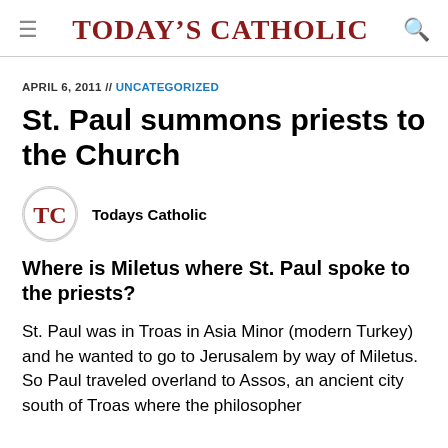TODAY'S CATHOLIC
APRIL 6, 2011 // UNCATEGORIZED
St. Paul summons priests to the Church
Todays Catholic
Where is Miletus where St. Paul spoke to the priests?
St. Paul was in Troas in Asia Minor (modern Turkey) and he wanted to go to Jerusalem by way of Miletus. So Paul traveled overland to Assos, an ancient city south of Troas where the philosopher